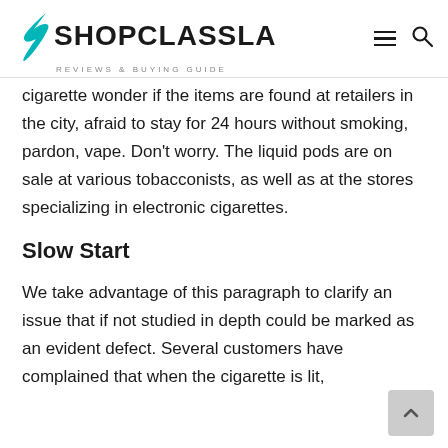SHOPCLASSLA — REVIEWS & BUYING GUIDE
cigarette wonder if the items are found at retailers in the city, afraid to stay for 24 hours without smoking, pardon, vape. Don't worry. The liquid pods are on sale at various tobacconists, as well as at the stores specializing in electronic cigarettes.
Slow Start
We take advantage of this paragraph to clarify an issue that if not studied in depth could be marked as an evident defect. Several customers have complained that when the cigarette is lit,